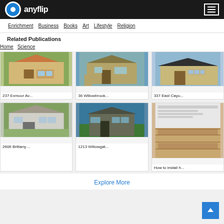anyflip
Enrichment  Business  Books  Art  Lifestyle  Religion
Related Publications
Home  Science
[Figure (photo): House exterior - 237 Exmoor Av...]
237 Exmoor Av...
[Figure (photo): House exterior - 36 Willowbrook...]
36 Willowbrook...
[Figure (photo): House exterior - 337 East Cayu...]
337 East Cayu...
[Figure (photo): House exterior - 2606 Brittany ...]
2606 Brittany ...
[Figure (photo): House exterior - 1213 Willowgat...]
1213 Willowgat...
[Figure (photo): Document/flooring image - How to install h...]
How to install h...
Explore More